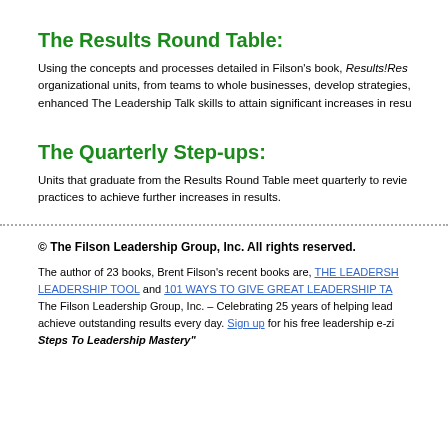The Results Round Table:
Using the concepts and processes detailed in Filson's book, Results!Results!Results!, organizational units, from teams to whole businesses, develop strategies, and use enhanced The Leadership Talk skills to attain significant increases in results.
The Quarterly Step-ups:
Units that graduate from the Results Round Table meet quarterly to review practices to achieve further increases in results.
© The Filson Leadership Group, Inc. All rights reserved.
The author of 23 books, Brent Filson's recent books are, THE LEADERSHIP TALK: THE GREATEST LEADERSHIP TOOL and 101 WAYS TO GIVE GREAT LEADERSHIP TALKS. The Filson Leadership Group, Inc. – Celebrating 25 years of helping leaders achieve outstanding results every day. Sign up for his free leadership e-zine, "The 2 Steps To Leadership Mastery"